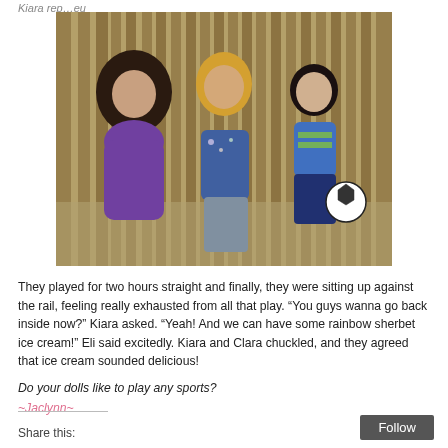Kiara rep…eu
[Figure (photo): Three American Girl dolls sitting against a wooden rail fence. The doll on the left wears a purple sweater with dark hair. The middle doll has curly blonde hair and wears a floral top with gray pants. The doll on the right has dark hair and wears a blue and green striped shirt with blue pants and holds a soccer ball.]
They played for two hours straight and finally, they were sitting up against the rail, feeling really exhausted from all that play. "You guys wanna go back inside now?" Kiara asked. "Yeah! And we can have some rainbow sherbet ice cream!" Eli said excitedly. Kiara and Clara chuckled, and they agreed that ice cream sounded delicious!
Do your dolls like to play any sports?
~Jaclynn~
Share this: